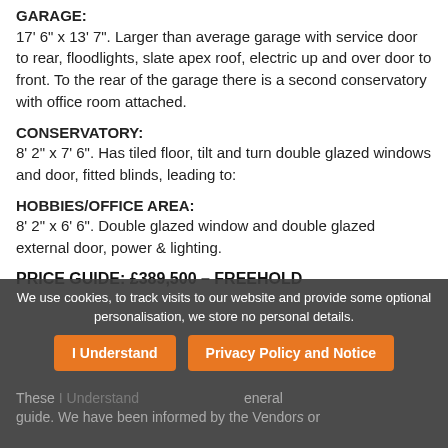GARAGE:
17' 6" x 13' 7". Larger than average garage with service door to rear, floodlights, slate apex roof, electric up and over door to front. To the rear of the garage there is a second conservatory with office room attached.
CONSERVATORY:
8' 2" x 7' 6". Has tiled floor, tilt and turn double glazed windows and door, fitted blinds, leading to:
HOBBIES/OFFICE AREA:
8' 2" x 6' 6". Double glazed window and double glazed external door, power & lighting.
PRICE GUIDE: £389,500 – FREEHOLD
We use cookies, to track visits to our website and provide some optional personalisation, we store no personal details.
These ... general guide. We have been informed by the Vendors or